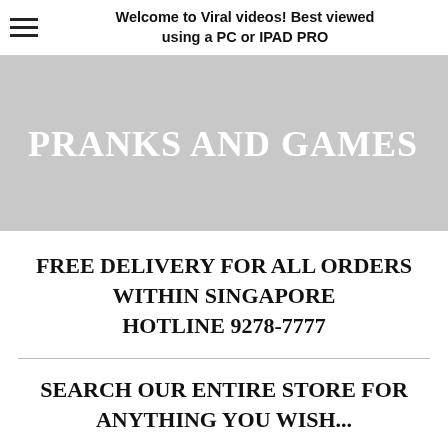Welcome to Viral videos! Best viewed using a PC or IPAD PRO
[Figure (other): Gray banner background with large white bold text reading PRANKS AND GAMES]
FREE DELIVERY FOR ALL ORDERS WITHIN SINGAPORE HOTLINE 9278-7777
SEARCH OUR ENTIRE STORE FOR ANYTHING YOU WISH...